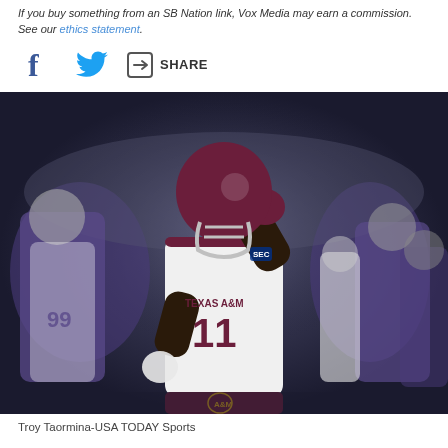If you buy something from an SB Nation link, Vox Media may earn a commission. See our ethics statement.
[Figure (photo): Texas A&M football player wearing jersey number 11 in white uniform with maroon helmet, celebrating on field against Kansas State opponents in purple uniforms]
Troy Taormina-USA TODAY Sports